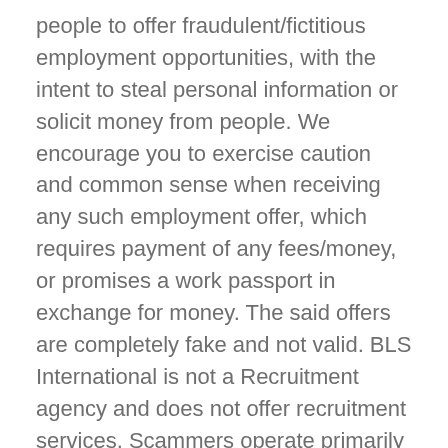people to offer fraudulent/fictitious employment opportunities, with the intent to steal personal information or solicit money from people. We encourage you to exercise caution and common sense when receiving any such employment offer, which requires payment of any fees/money, or promises a work passport in exchange for money. The said offers are completely fake and not valid. BLS International is not a Recruitment agency and does not offer recruitment services. Scammers operate primarily via the internet, email, phone etc. We warn people to beware of such scams.
Please be advised that, BLS International is a passport processing company and we work only with government and diplomatic missions to fulfil their administrative requirements of passport application processing.